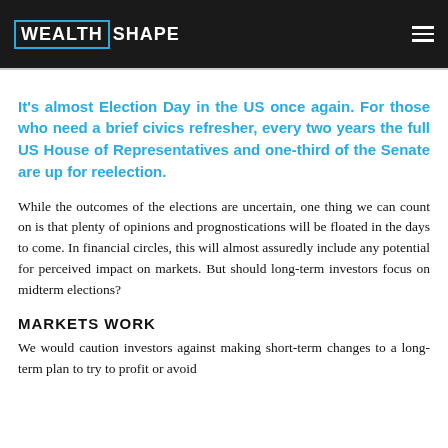WEALTHSHAPE
It's almost Election Day in the US once again. For those who need a brief civics refresher, every two years the full US House of Representatives and one-third of the Senate are up for reelection.
While the outcomes of the elections are uncertain, one thing we can count on is that plenty of opinions and prognostications will be floated in the days to come. In financial circles, this will almost assuredly include any potential for perceived impact on markets. But should long-term investors focus on midterm elections?
MARKETS WORK
We would caution investors against making short-term changes to a long-term plan to try to profit or avoid